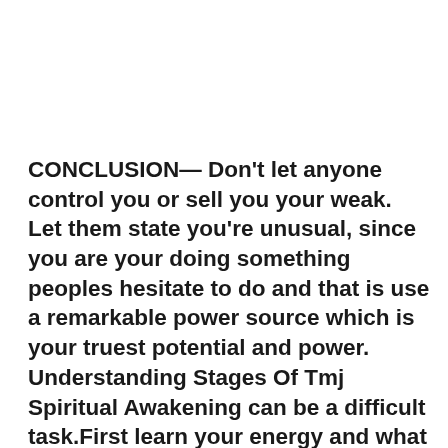CONCLUSION— Don't let anyone control you or sell you your weak. Let them state you're unusual, since you are your doing something peoples hesitate to do and that is use a remarkable power source which is your truest potential and power. Understanding Stages Of Tmj Spiritual Awakening can be a difficult task.First learn your energy and what course your own as soon as you do that you will then comprehend what actions need to be acquired to...